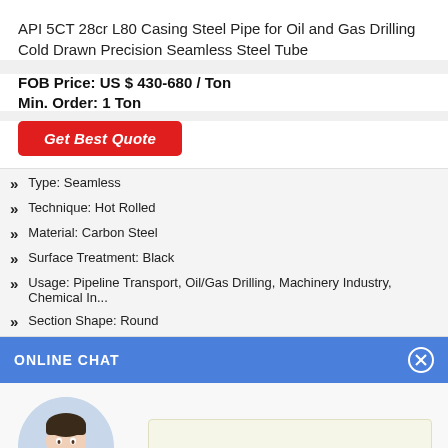API 5CT 28cr L80 Casing Steel Pipe for Oil and Gas Drilling Cold Drawn Precision Seamless Steel Tube
FOB Price: US $ 430-680 / Ton
Min. Order: 1 Ton
Get Best Quote
Type: Seamless
Technique: Hot Rolled
Material: Carbon Steel
Surface Treatment: Black
Usage: Pipeline Transport, Oil/Gas Drilling, Machinery Industry, Chemical In...
Section Shape: Round
ONLINE CHAT
[Figure (photo): Female customer service agent avatar photo (Cilina)]
Cilina
Hi,welcome to visit our website.